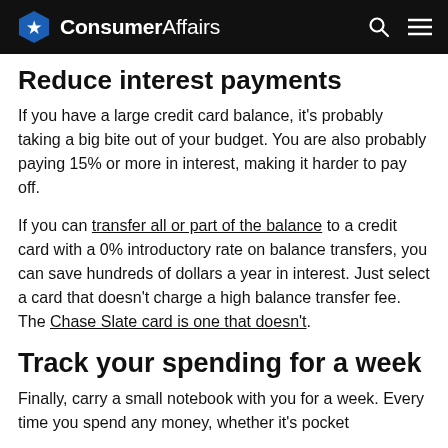ConsumerAffairs
Reduce interest payments
If you have a large credit card balance, it's probably taking a big bite out of your budget. You are also probably paying 15% or more in interest, making it harder to pay off.
If you can transfer all or part of the balance to a credit card with a 0% introductory rate on balance transfers, you can save hundreds of dollars a year in interest. Just select a card that doesn't charge a high balance transfer fee. The Chase Slate card is one that doesn't.
Track your spending for a week
Finally, carry a small notebook with you for a week. Every time you spend any money, whether it's pocket